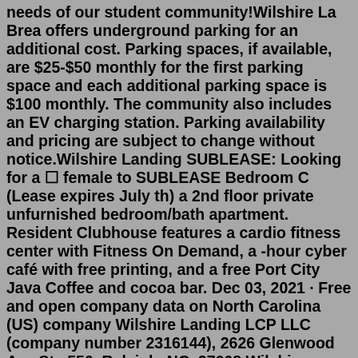needs of our student community!Wilshire La Brea offers underground parking for an additional cost. Parking spaces, if available, are $25-$50 monthly for the first parking space and each additional parking space is $100 monthly. The community also includes an EV charging station. Parking availability and pricing are subject to change without notice.Wilshire Landing SUBLEASE: Looking for a ⬜ female to SUBLEASE Bedroom C (Lease expires July th) a 2nd floor private unfurnished bedroom/bath apartment. Resident Clubhouse features a cardio fitness center with Fitness On Demand, a -hour cyber café with free printing, and a free Port City Java Coffee and cocoa bar. Dec 03, 2021 · Free and open company data on North Carolina (US) company Wilshire Landing LCP LLC (company number 2316144), 2626 Glenwood Ave Ste 550, Raleigh, NC, 27608 Wilshire Landing. 4013 Wilshire Blvd Wilmington, NC 28403. Opens in a new tab. OFFICE HOURS. Tuesday: 9 AM to - 5:30 PM; Thursday: 9 AM to - 5:30 PM; Phone Number ... Beverly Wilshire Medical Centre is the preferred